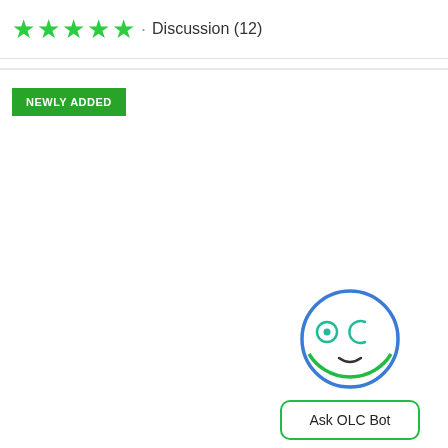[Figure (other): Five green star rating icons followed by a dot and the text 'Discussion (12)']
Discussion (12)
NEWLY ADDED
[Figure (illustration): OLC Bot face logo: a circular face with two eyes (one circular eye with pupil, one 'C' shaped eye), the letters OLC inside, and a small smile. Below it is a button labeled 'Ask OLC Bot'.]